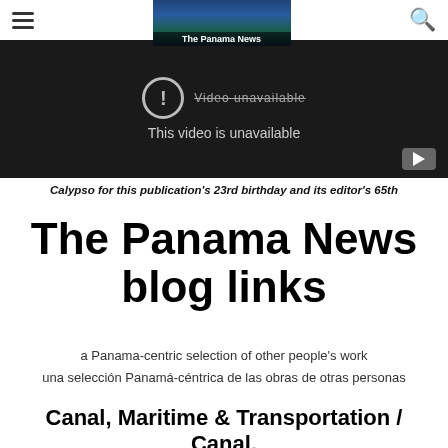The Panama News
[Figure (screenshot): Video player showing 'This video is unavailable' message with exclamation icon on dark background, YouTube button visible at bottom right. The Panama News header image visible at top.]
Calypso for this publication's 23rd birthday and its editor's 65th
The Panama News blog links
a Panama-centric selection of other people's work
una selección Panamá-céntrica de las obras de otras personas
Canal, Maritime & Transportation / Canal,